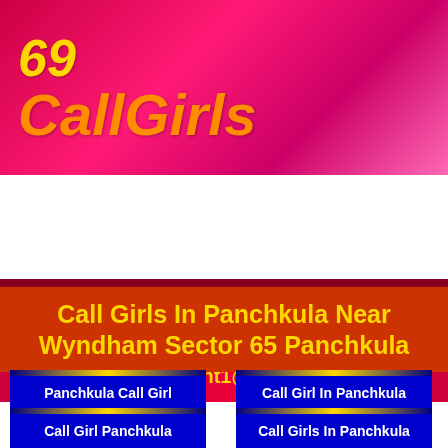69 CallGirls
website4rent1@gmail.com
[Figure (other): Navigation bar with hamburger menu icon]
Call Girls In Panchkula Near Wyndham Sector 65 Panchkula
Panchkula Call Girl
Call Girl In Panchkula
Call Girl Panchkula
Call Girls In Panchkula